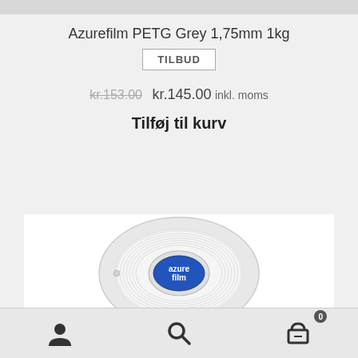Azurefilm PETG Grey 1,75mm 1kg
TILBUD
kr.153.00  kr.145.00 inkl. moms
Tilføj til kurv
[Figure (photo): A grey/clear PETG filament spool by Azurefilm with a blue oval logo label in the center reading 'azure film'. The spool shows wound filament and is photographed against a white background.]
Navigation bar with user account icon, search icon, and shopping cart icon with badge showing 0